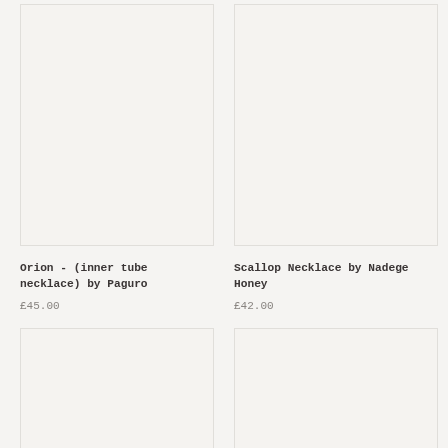[Figure (photo): Product image placeholder — light beige/grey background, top-left card]
Orion - (inner tube necklace) by Paguro
£45.00
[Figure (photo): Product image placeholder — light beige/grey background, top-right card]
Scallop Necklace by Nadege Honey
£42.00
[Figure (photo): Product image placeholder — light beige/grey background, bottom-left card]
[Figure (photo): Product image placeholder — light beige/grey background, bottom-right card]